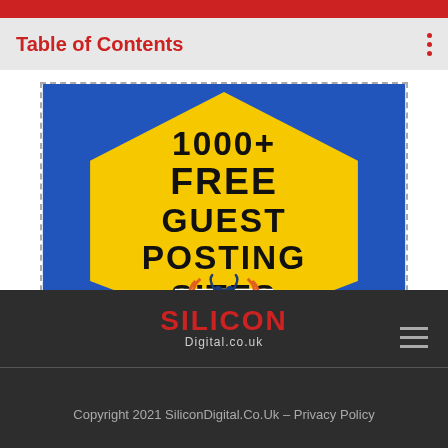Table of Contents
[Figure (illustration): Promotional image showing '1000+ FREE GUEST POSTING SITES' text on a yellow hexagon against a blue background, with a BIGGBULL logo at the bottom]
[Figure (logo): Silicon Digital.co.uk logo in red and white text on dark background]
Copyright 2021 SiliconDigital.Co.Uk – Privacy Policy